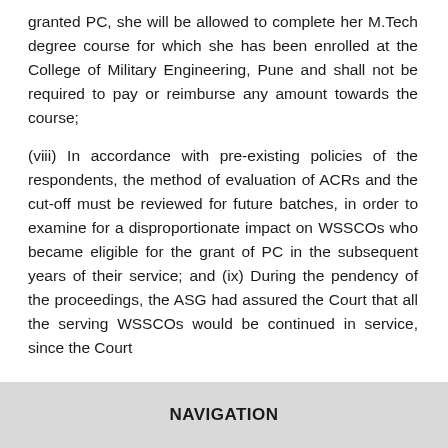granted PC, she will be allowed to complete her M.Tech degree course for which she has been enrolled at the College of Military Engineering, Pune and shall not be required to pay or reimburse any amount towards the course;
(viii) In accordance with pre-existing policies of the respondents, the method of evaluation of ACRs and the cut-off must be reviewed for future batches, in order to examine for a disproportionate impact on WSSCOs who became eligible for the grant of PC in the subsequent years of their service; and (ix) During the pendency of the proceedings, the ASG had assured the Court that all the serving WSSCOs would be continued in service, since the Court
NAVIGATION